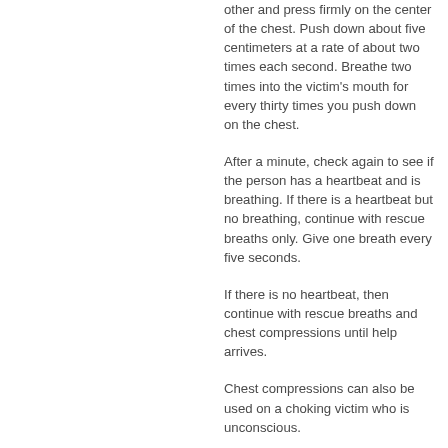other and press firmly on the center of the chest. Push down about five centimeters at a rate of about two times each second. Breathe two times into the victim's mouth for every thirty times you push down on the chest.
After a minute, check again to see if the person has a heartbeat and is breathing. If there is a heartbeat but no breathing, continue with rescue breaths only. Give one breath every five seconds.
If there is no heartbeat, then continue with rescue breaths and chest compressions until help arrives.
Chest compressions can also be used on a choking victim who is unconscious.